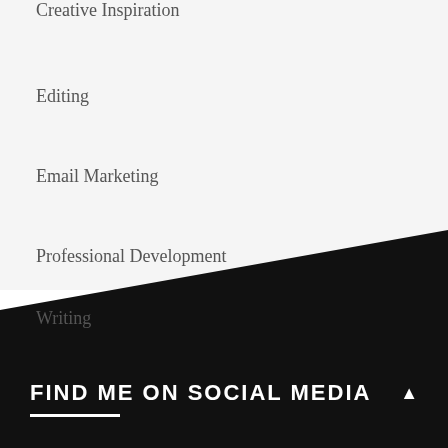Creative Inspiration
Editing
Email Marketing
Professional Development
Writing
FIND ME ON SOCIAL MEDIA